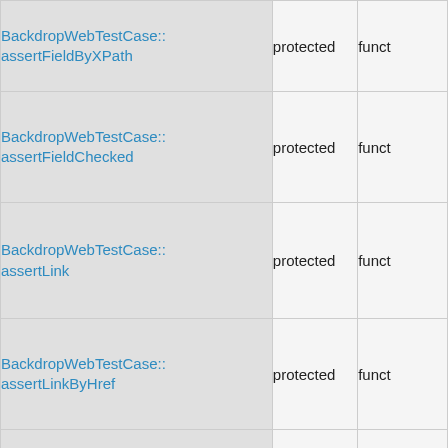| Name | Visibility | Type |
| --- | --- | --- |
| BackdropWebTestCase::assertFieldByXPath | protected | funct |
| BackdropWebTestCase::assertFieldChecked | protected | funct |
| BackdropWebTestCase::assertLink | protected | funct |
| BackdropWebTestCase::assertLinkByHref | protected | funct |
|  |  |  |